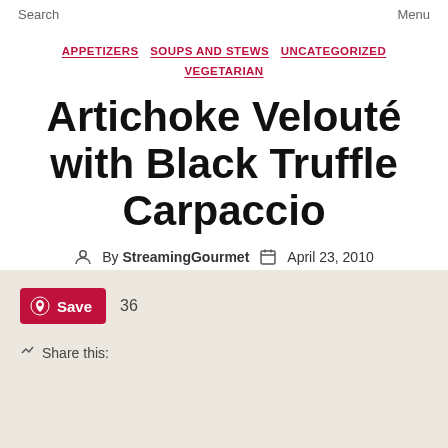Search    Menu
APPETIZERS  SOUPS AND STEWS  UNCATEGORIZED  VEGETARIAN
Artichoke Velouté with Black Truffle Carpaccio
By StreamingGourmet  April 23, 2010  16 Comments
Save  36
Share this: